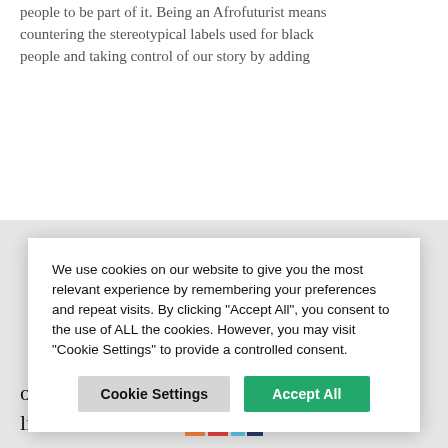people to be part of it. Being an Afrofuturist means countering the stereotypical labels used for black people and taking control of our story by adding
We use cookies on our website to give you the most relevant experience by remembering your preferences and repeat visits. By clicking “Accept All”, you consent to the use of ALL the cookies. However, you may visit “Cookie Settings” to provide a controlled consent.
or even hundreds of years beyond my lifetime.
[Figure (logo): Colored block logo with orange, red, light blue, and dark blue rectangles]